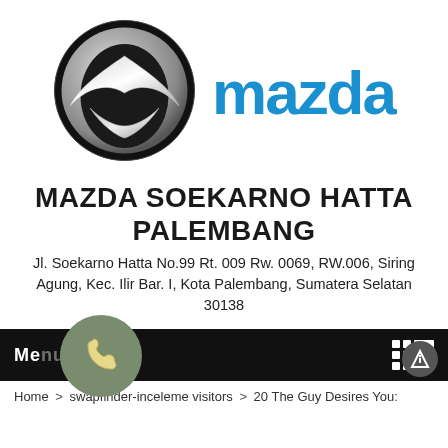[Figure (logo): Mazda logo: circular chrome emblem with stylized M wing shape on left, and blue MAZDA wordmark text on right]
MAZDA SOEKARNO HATTA PALEMBANG
Jl. Soekarno Hatta No.99 Rt. 009 Rw. 0069, RW.006, Siring Agung, Kec. Ilir Bar. I, Kota Palembang, Sumatera Selatan 30138
[Figure (screenshot): Black navigation bar with Menu text on left, grid/list icon on right, phone icon bubble overlapping bar, and info/up arrow bubble on right]
Home > swapfinder-inceleme visitors > 20 The Guy Desires You: